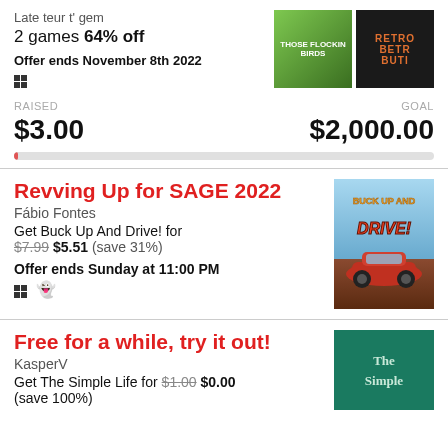Late teur t' gem
2 games 64% off
Offer ends November 8th 2022
RAISED $3.00   GOAL $2,000.00
Revving Up for SAGE 2022
Fábio Fontes
Get Buck Up And Drive! for $7.99 $5.51 (save 31%)
Offer ends Sunday at 11:00 PM
Free for a while, try it out!
KasperV
Get The Simple Life for $1.00 $0.00 (save 100%)